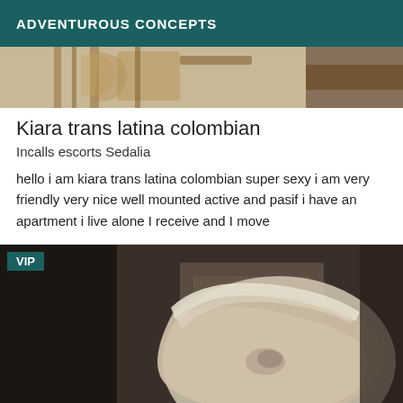ADVENTUROUS CONCEPTS
[Figure (photo): Partial view of a room with wooden antler decorations on a wall and a brown leather strap/bag visible in the upper portion of the listing card.]
Kiara trans latina colombian
Incalls escorts Sedalia
hello i am kiara trans latina colombian super sexy i am very friendly very nice well mounted active and pasif i have an apartment i live alone I receive and I move
[Figure (photo): A person with white/silver hair photographed indoors in a dimly lit room, with a framed picture visible on the wall behind them. A VIP badge is overlaid on the top left of the image.]